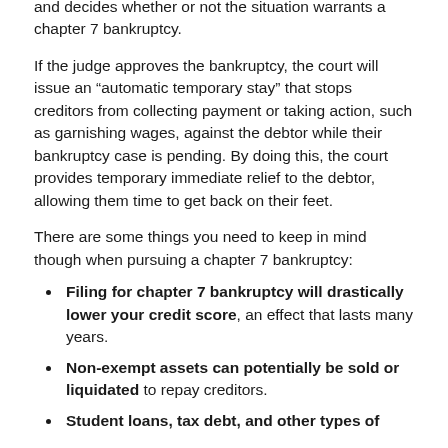and decides whether or not the situation warrants a chapter 7 bankruptcy.
If the judge approves the bankruptcy, the court will issue an “automatic temporary stay” that stops creditors from collecting payment or taking action, such as garnishing wages, against the debtor while their bankruptcy case is pending. By doing this, the court provides temporary immediate relief to the debtor, allowing them time to get back on their feet.
There are some things you need to keep in mind though when pursuing a chapter 7 bankruptcy:
Filing for chapter 7 bankruptcy will drastically lower your credit score, an effect that lasts many years.
Non-exempt assets can potentially be sold or liquidated to repay creditors.
Student loans, tax debt, and other types of